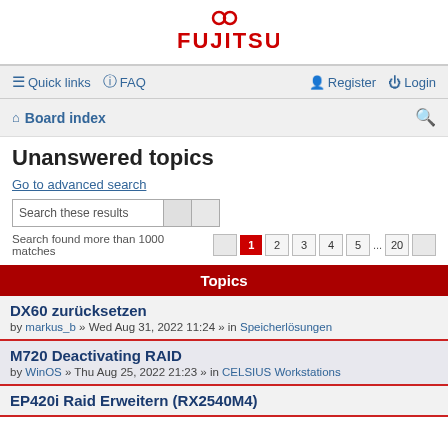[Figure (logo): Fujitsu logo in red with infinity symbol above the text]
Quick links  FAQ  Register  Login
Board index
Unanswered topics
Go to advanced search
Search these results
Search found more than 1000 matches  1  2  3  4  5  ...  20
Topics
DX60 zurücksetzen
by markus_b » Wed Aug 31, 2022 11:24 » in Speicherlösungen
M720 Deactivating RAID
by WinOS » Thu Aug 25, 2022 21:23 » in CELSIUS Workstations
EP420i Raid Erweitern (RX2540M4)